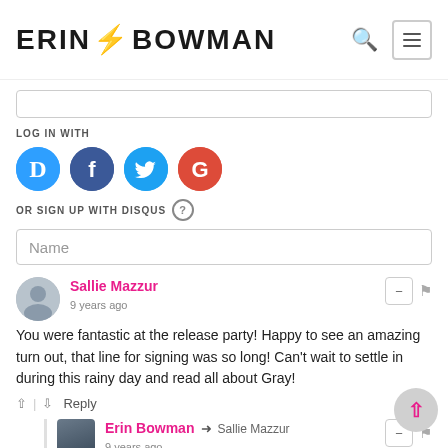ERIN BOWMAN
LOG IN WITH
[Figure (infographic): Social login icons: Disqus (D), Facebook (f), Twitter bird, Google (G)]
OR SIGN UP WITH DISQUS (?)
Name (input field)
Sallie Mazzur
9 years ago
You were fantastic at the release party! Happy to see an amazing turn out, that line for signing was so long! Can't wait to settle in during this rainy day and read all about Gray!
↑ | ↓ Reply
Erin Bowman → Sallie Mazzur
9 years ago